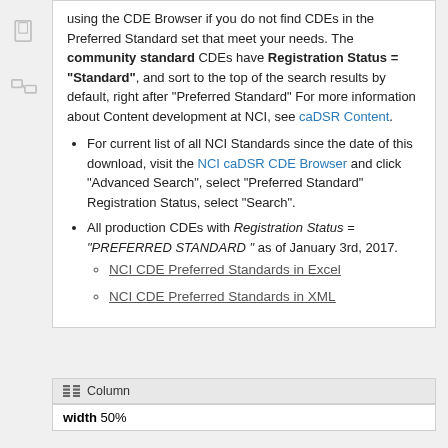using the CDE Browser if you do not find CDEs in the Preferred Standard set that meet your needs. The community standard CDEs have Registration Status = "Standard", and sort to the top of the search results by default, right after "Preferred Standard" For more information about Content development at NCI, see caDSR Content.
For current list of all NCI Standards since the date of this download, visit the NCI caDSR CDE Browser and click "Advanced Search", select "Preferred Standard" Registration Status, select "Search".
All production CDEs with Registration Status = "PREFERRED STANDARD " as of January 3rd, 2017.
NCI CDE Preferred Standards in Excel
NCI CDE Preferred Standards in XML
Column
width 50%